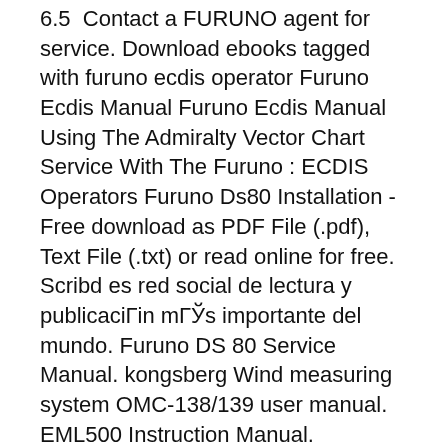6.5  Contact a FURUNO agent for service. Download ebooks tagged with furuno ecdis operator Furuno Ecdis Manual Furuno Ecdis Manual Using The Admiralty Vector Chart Service With The Furuno : ECDIS Operators Furuno Ds80 Installation - Free download as PDF File (.pdf), Text File (.txt) or read online for free. Scribd es red social de lectura y publicaciГin mГЎs importante del mundo. Furuno DS 80 Service Manual. kongsberg Wind measuring system OMC-138/139 user manual. EML500 Instruction Manual.
Get Furuno DS-60 SONAR User Manual. Get all Furuno manuals! Furuno ds-80 manual, review - ps2netdrivers Furuno